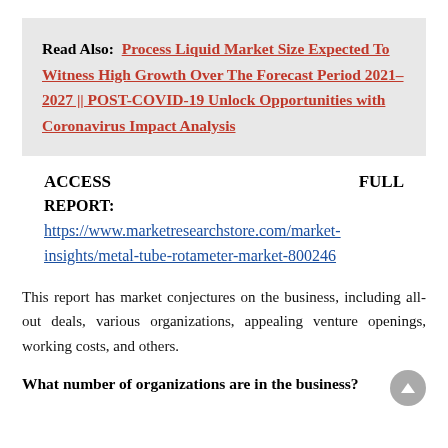Read Also: Process Liquid Market Size Expected To Witness High Growth Over The Forecast Period 2021–2027 || POST-COVID-19 Unlock Opportunities with Coronavirus Impact Analysis
ACCESS FULL REPORT: https://www.marketresearchstore.com/market-insights/metal-tube-rotameter-market-800246
This report has market conjectures on the business, including all-out deals, various organizations, appealing venture openings, working costs, and others.
What number of organizations are in the business?